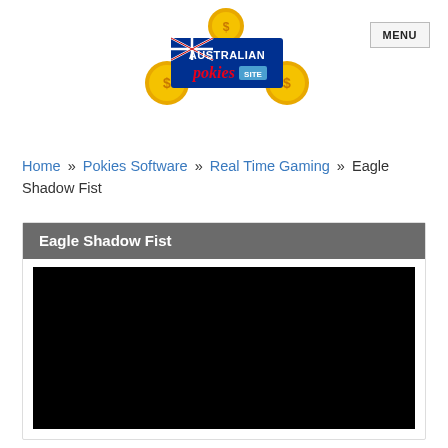[Figure (logo): Australian Pokies Site logo with gold coins and Australian flag]
MENU
Home » Pokies Software » Real Time Gaming » Eagle Shadow Fist
Eagle Shadow Fist
[Figure (screenshot): Black game area placeholder for Eagle Shadow Fist pokie game]